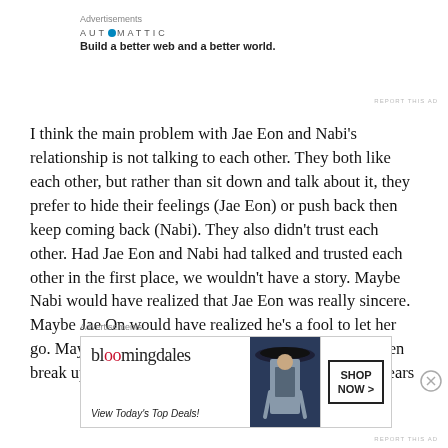Advertisements
[Figure (logo): Automattic logo with tagline: Build a better web and a better world.]
REPORT THIS AD
I think the main problem with Jae Eon and Nabi’s relationship is not talking to each other. They both like each other, but rather than sit down and talk about it, they prefer to hide their feelings (Jae Eon) or push back then keep coming back (Nabi). They also didn’t trust each other. Had Jae Eon and Nabi had talked and trusted each other in the first place, we wouldn’t have a story. Maybe Nabi would have realized that Jae Eon was really sincere. Maybe Jae On would have realized he’s a fool to let her go. Maybe they continue with their relationship and then break up within the year. Or maybe they’ll last a few years
Advertisements
[Figure (screenshot): Bloomingdales advertisement banner: bloomingdales logo, View Today's Top Deals!, with model image and SHOP NOW > button]
REPORT THIS AD